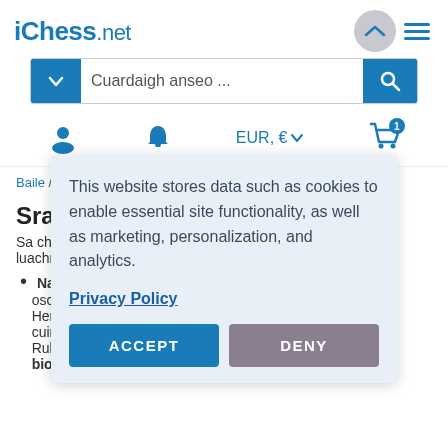iChess.net
[Figure (screenshot): Search bar with blue dropdown arrow button, text input 'Cuardaigh anseo ...', and blue search magnifying glass button]
[Figure (infographic): Navigation icons: user icon, bell icon, EUR € currency selector with dropdown, cart icon with badge 1]
Baile / Cúrsaí Fichille Siopa & Físeáin / Sraith Eile
Sraith Ei
Sa chuid se luachmhar:
Na Co oscailt Henley cuimsi Rubins biolltíre (Stonewall), agus an Córas Londain
[Figure (screenshot): Cookie consent modal overlay with text: 'This website stores data such as cookies to enable essential site functionality, as well as marketing, personalization, and analytics.' with Privacy Policy link and ACCEPT/DENY buttons]